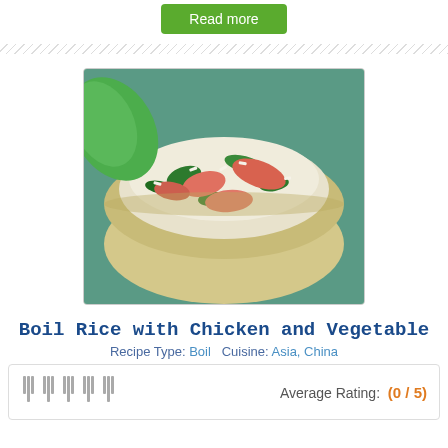Read more
[Figure (photo): A bowl of boil rice topped with pieces of salmon and green vegetables]
Boil Rice with Chicken and Vegetable
Recipe Type: Boil   Cuisine: Asia, China
Average Rating: (0 / 5)